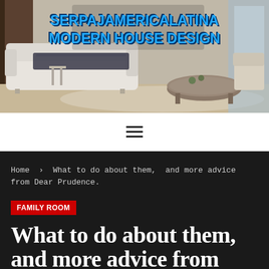[Figure (photo): Interior living room photo showing a modern sofa with dark throw blanket and a round wooden coffee table on a light rug, with the blog title 'SERPAJAMERICALATINA MODERN HOUSE DESIGN' overlaid in bold blue text with dark outline]
SERPAJAMERICALATINA MODERN HOUSE DESIGN
≡ (hamburger navigation menu icon)
Home > What to do about them, and more advice from Dear Prudence.
FAMILY ROOM
What to do about them, and more advice from Dear Prudence.